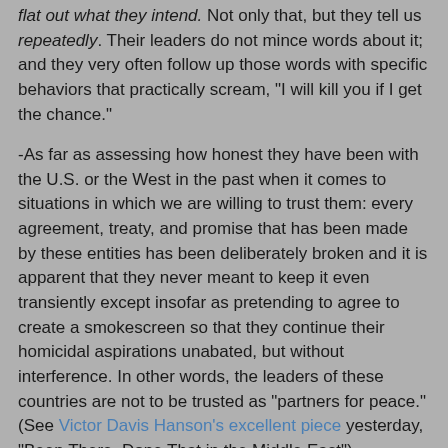flat out what they intend. Not only that, but they tell us repeatedly. Their leaders do not mince words about it; and they very often follow up those words with specific behaviors that practically scream, "I will kill you if I get the chance."
-As far as assessing how honest they have been with the U.S. or the West in the past when it comes to situations in which we are willing to trust them: every agreement, treaty, and promise that has been made by these entities has been deliberately broken and it is apparent that they never meant to keep it even transiently except insofar as pretending to agree to create a smokescreen so that they continue their homicidal aspirations unabated, but without interference. In other words, the leaders of these countries are not to be trusted as "partners for peace." (See Victor Davis Hanson's excellent piece yesterday, "Been There, Done That in the Middle East").
-All of these terrorist entities have a long history of ACTING on their suicidal /homicidal feelings in the past? (Remember, one of the most significant predictors of future behavior is past behavior)